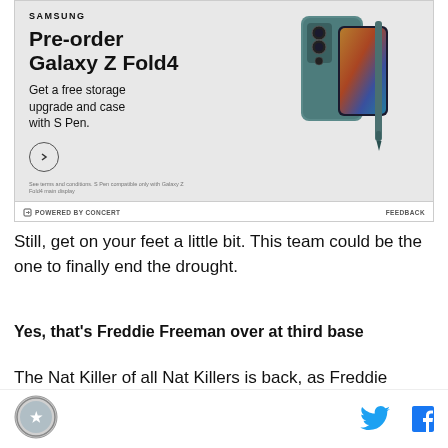[Figure (illustration): Samsung Galaxy Z Fold4 advertisement. Shows phone product image on right side. Text reads: 'Pre-order Galaxy Z Fold4 - Get a free storage upgrade and case with S Pen.' Small circle button with arrow. Fine print text at bottom. Powered by Concert label and Feedback link.]
Still, get on your feet a little bit. This team could be the one to finally end the drought.
Yes, that's Freddie Freeman over at third base
The Nat Killer of all Nat Killers is back, as Freddie Freeman...
[Figure (logo): Circular site logo with American flag/patriotic design]
[Figure (illustration): Twitter bird icon (blue) and Facebook f icon (blue) social share buttons]